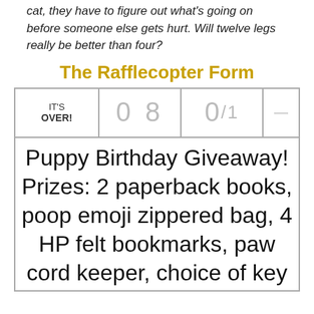cat, they have to figure out what's going on before someone else gets hurt. Will twelve legs really be better than four?
The Rafflecopter Form
[Figure (screenshot): Rafflecopter giveaway widget showing IT'S OVER! status with countdown digits 0 8 and 0/1, and giveaway text: Puppy Birthday Giveaway! Prizes: 2 paperback books, poop emoji zippered bag, 4 HP felt bookmarks, paw cord keeper, choice of key]
Puppy Birthday Giveaway! Prizes: 2 paperback books, poop emoji zippered bag, 4 HP felt bookmarks, paw cord keeper, choice of key